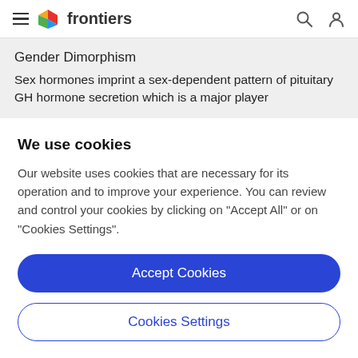frontiers
Gender Dimorphism
Sex hormones imprint a sex-dependent pattern of pituitary GH hormone secretion which is a major player
We use cookies
Our website uses cookies that are necessary for its operation and to improve your experience. You can review and control your cookies by clicking on "Accept All" or on "Cookies Settings".
Accept Cookies
Cookies Settings